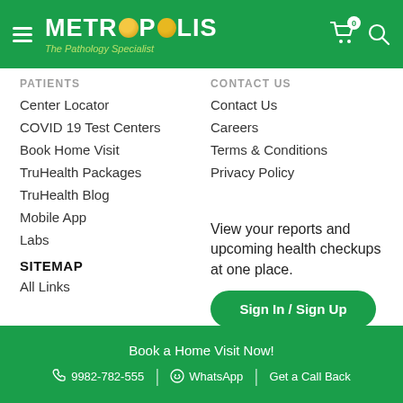[Figure (logo): Metropolis The Pathology Specialist logo with green header bar, hamburger menu, cart icon with badge 0, and search icon]
PATIENTS
Center Locator
COVID 19 Test Centers
Book Home Visit
TruHealth Packages
TruHealth Blog
Mobile App
Labs
CONTACT US
Contact Us
Careers
Terms & Conditions
Privacy Policy
SITEMAP
All Links
View your reports and upcoming health checkups at one place.
Sign In / Sign Up
Book a Home Visit Now! | 9982-782-555 | WhatsApp | Get a Call Back